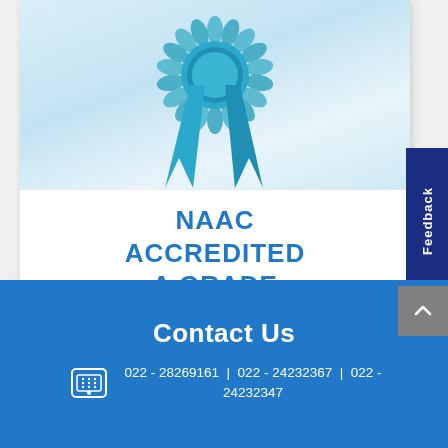[Figure (illustration): Blue award ribbon/rosette on a light blue gradient background]
NAAC ACCREDITED A GRADE
Feedback
Contact Us
022 - 28269161  |  022 - 24232367  |  022 - 24232347